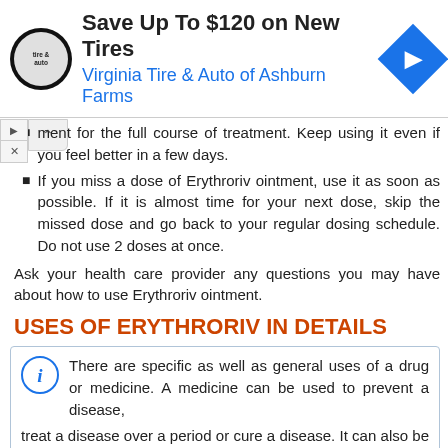[Figure (other): Advertisement banner: Save Up To $120 on New Tires - Virginia Tire & Auto of Ashburn Farms, with tire & auto logo and navigation arrow icon]
ment for the full course of treatment. Keep using it even if you feel better in a few days.
If you miss a dose of Erythroriv ointment, use it as soon as possible. If it is almost time for your next dose, skip the missed dose and go back to your regular dosing schedule. Do not use 2 doses at once.
Ask your health care provider any questions you may have about how to use Erythroriv ointment.
USES OF ERYTHRORIV IN DETAILS
There are specific as well as general uses of a drug or medicine. A medicine can be used to prevent a disease, treat a disease over a period or cure a disease. It can also be used to treat the particular symptom of the